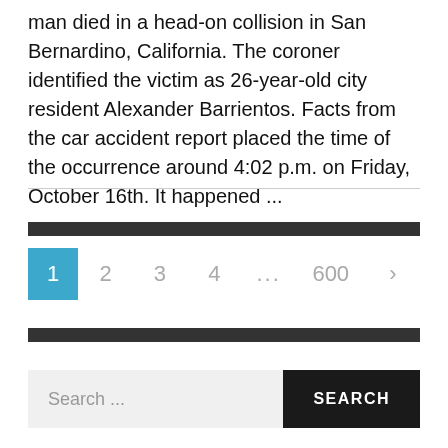man died in a head-on collision in San Bernardino, California. The coroner identified the victim as 26-year-old city resident Alexander Barrientos. Facts from the car accident report placed the time of the occurrence around 4:02 p.m. on Friday, October 16th. It happened ...
1 2 3 4 ... 600 >
Search ...